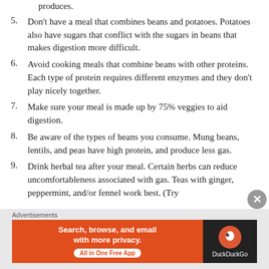produces.
5. Don’t have a meal that combines beans and potatoes. Potatoes also have sugars that conflict with the sugars in beans that makes digestion more difficult.
6. Avoid cooking meals that combine beans with other proteins. Each type of protein requires different enzymes and they don’t play nicely together.
7. Make sure your meal is made up by 75% veggies to aid digestion.
8. Be aware of the types of beans you consume. Mung beans, lentils, and peas have high protein, and produce less gas.
9. Drink herbal tea after your meal. Certain herbs can reduce uncomfortableness associated with gas. Teas with ginger, peppermint, and/or fennel work best. (Try
Advertisements
[Figure (other): DuckDuckGo advertisement banner: Search, browse, and email with more privacy. All in One Free App. DuckDuckGo logo on dark background.]